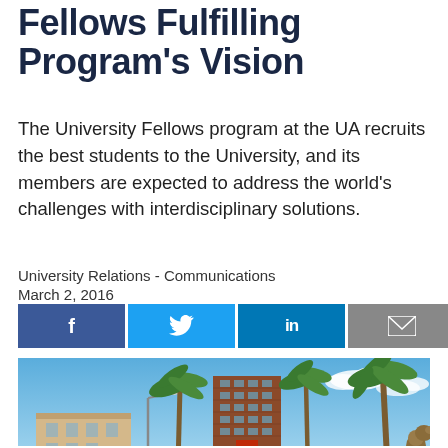Fellows Fulfilling Program's Vision
The University Fellows program at the UA recruits the best students to the University, and its members are expected to address the world's challenges with interdisciplinary solutions.
University Relations - Communications
March 2, 2016
[Figure (other): Social media share buttons: Facebook (f), Twitter (bird icon), LinkedIn (in), Email (envelope icon), Print (printer icon)]
[Figure (photo): Outdoor campus photo showing university buildings including a tall brick building, palm trees, a street lamp, a bronze bear sculpture, blue sky with clouds, and landscaped grounds.]